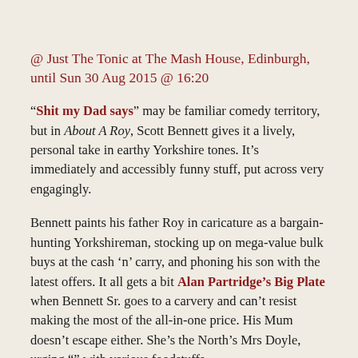@ Just The Tonic at The Mash House, Edinburgh, until Sun 30 Aug 2015 @ 16:20
“Shit my Dad says” may be familiar comedy territory, but in About A Roy, Scott Bennett gives it a lively, personal take in earthy Yorkshire tones. It’s immediately and accessibly funny stuff, put across very engagingly.
Bennett paints his father Roy in caricature as a bargain-hunting Yorkshireman, stocking up on mega-value bulk buys at the cash ‘n’ carry, and phoning his son with the latest offers. It all gets a bit Alan Partridge’s Big Plate when Bennett Sr. goes to a carvery and can’t resist making the most of the all-in-one price. His Mum doesn’t escape either. She’s the North’s Mrs Doyle, urging “—” with various foodstuffs...